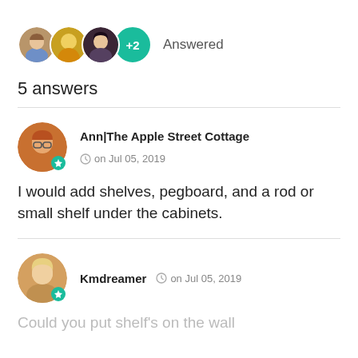[Figure (other): Three overlapping user avatar circles and a teal circle with +2, followed by the text 'Answered']
5 answers
[Figure (other): User avatar of Ann|The Apple Street Cottage with a teal star badge]
Ann|The Apple Street Cottage   on Jul 05, 2019
I would add shelves, pegboard, and a rod or small shelf under the cabinets.
[Figure (other): User avatar of Kmdreamer with a teal star badge]
Kmdreamer   on Jul 05, 2019
Could you put shelf's on the wall